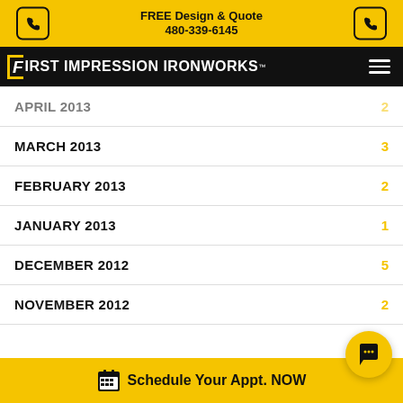FREE Design & Quote 480-339-6145
First Impression Ironworks™
APRIL 2013   2
MARCH 2013   3
FEBRUARY 2013   2
JANUARY 2013   1
DECEMBER 2012   5
NOVEMBER 2012   2
Schedule Your Appt. NOW